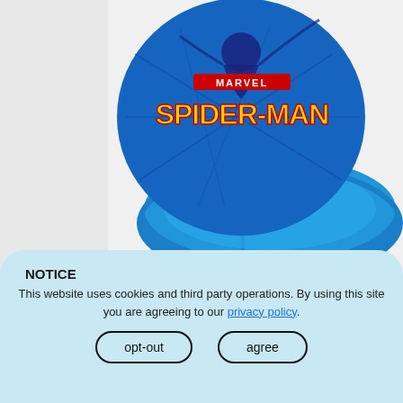[Figure (photo): Marvel Comics Spider-Man 2-piece kids dinnerware set showing a round blue plate with Spider-Man Marvel logo graphic and a divided blue plastic plate tray, photographed on white background]
Marvel Comics Kids Dinnerware, Spider-Man, 2-piece set
NOTICE
This website uses cookies and third party operations. By using this site you are agreeing to our privacy policy.
opt-out   agree